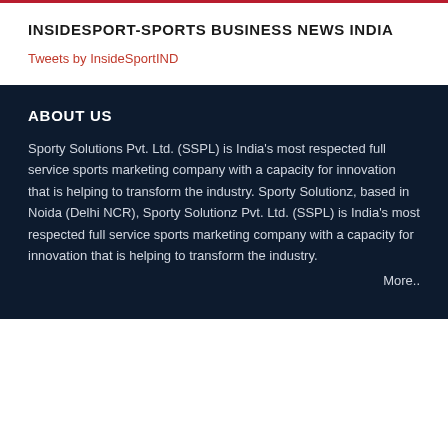INSIDESPORT-SPORTS BUSINESS NEWS INDIA
Tweets by InsideSportIND
ABOUT US
Sporty Solutions Pvt. Ltd. (SSPL) is India's most respected full service sports marketing company with a capacity for innovation that is helping to transform the industry. Sporty Solutionz, based in Noida (Delhi NCR), Sporty Solutionz Pvt. Ltd. (SSPL) is India's most respected full service sports marketing company with a capacity for innovation that is helping to transform the industry.
More..